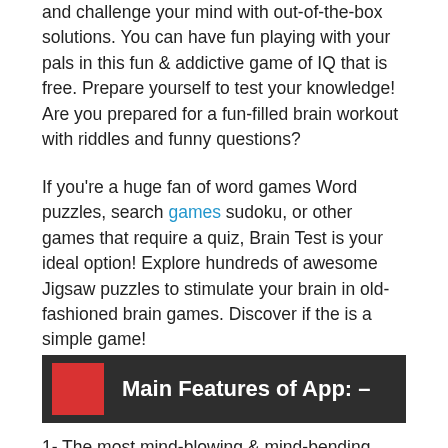and challenge your mind with out-of-the-box solutions. You can have fun playing with your pals in this fun & addictive game of IQ that is free. Prepare yourself to test your knowledge! Are you prepared for a fun-filled brain workout with riddles and funny questions?
If you're a huge fan of word games Word puzzles, search games sudoku, or other games that require a quiz, Brain Test is your ideal option! Explore hundreds of awesome Jigsaw puzzles to stimulate your brain in old-fashioned brain games. Discover if the is a simple game!
Main Features of App: –
1- The most mind-blowing & mind-bending Brain Test you'll love originally...